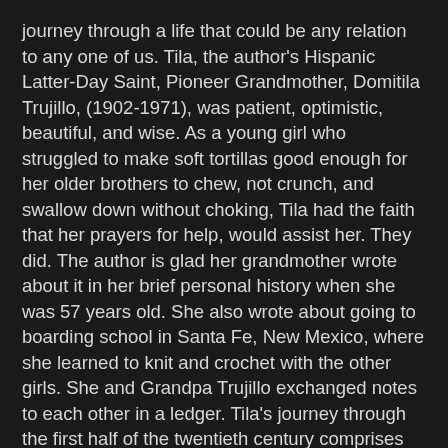journey through a life that could be any relation to any one of us. Tila, the author's Hispanic Latter-Day Saint, Pioneer Grandmother, Domitila Trujillo, (1902-1971), was patient, optimistic, beautiful, and wise. As a young girl who struggled to make soft tortillas good enough for her older brothers to chew, not crunch, and swallow down without choking, Tila had the faith that her prayers for help, would assist her. They did. The author is glad her grandmother wrote about it in her brief personal history when she was 57 years old. She also wrote about going to boarding school in Santa Fe, New Mexico, where she learned to knit and crochet with the other girls. She and Grandpa Trujillo exchanged notes to each other in a ledger. Tila's journey through the first half of the twentieth century comprises many stories — all true, as she experiences friends her age leaving to serve in the Great War (as